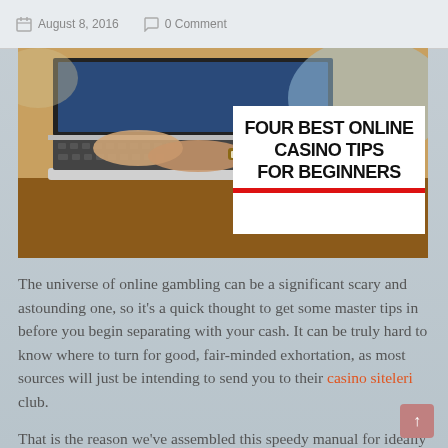August 8, 2016   0 Comment
[Figure (photo): Person typing on a laptop at a wooden desk. Overlaid title box reads: FOUR BEST ONLINE CASINO TIPS FOR BEGINNERS with a red underline bar.]
The universe of online gambling can be a significant scary and astounding one, so it's a quick thought to get some master tips in before you begin separating with your cash. It can be truly hard to know where to turn for good, fair-minded exhortation, as most sources will just be intending to send you to their casino siteleri club.
That is the reason we've assembled this speedy manual for ideally take a portion of the perplexity and language